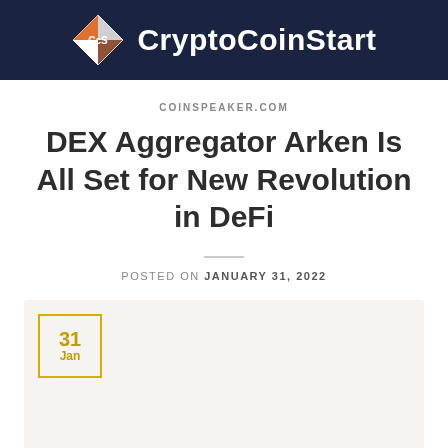[Figure (logo): CryptoCoinStart logo with diamond/rhombus icon (orange and white facets, CcS label) and white bold site name on dark navy background]
COINSPEAKER.COM
DEX Aggregator Arken Is All Set for New Revolution in DeFi
POSTED ON JANUARY 31, 2022
[Figure (other): Light gray featured image box with a yellow-bordered date badge showing '31 Jan' in the upper left corner]